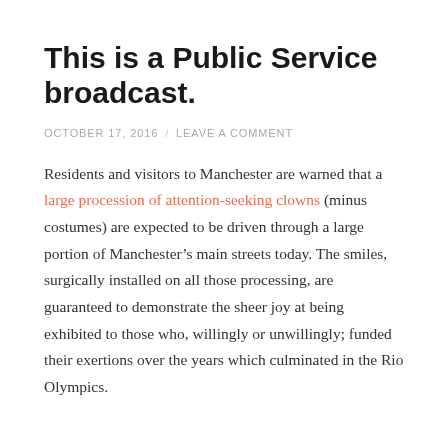This is a Public Service broadcast.
OCTOBER 17, 2016 / LEAVE A COMMENT
Residents and visitors to Manchester are warned that a large procession of attention-seeking clowns (minus costumes) are expected to be driven through a large portion of Manchester’s main streets today. The smiles, surgically installed on all those processing, are guaranteed to demonstrate the sheer joy at being exhibited to those who, willingly or unwillingly; funded their exertions over the years which culminated in the Rio Olympics.